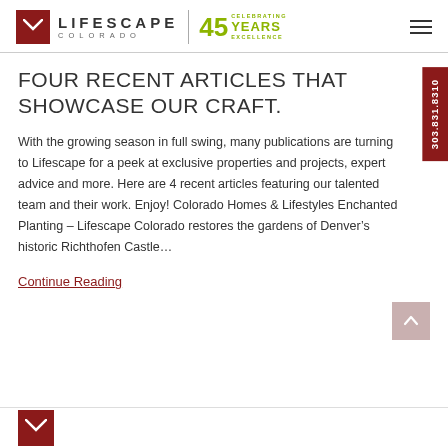LIFESCAPE COLORADO | 45 YEARS CELEBRATING EXCELLENCE
FOUR RECENT ARTICLES THAT SHOWCASE OUR CRAFT.
With the growing season in full swing, many publications are turning to Lifescape for a peek at exclusive properties and projects, expert advice and more. Here are 4 recent articles featuring our talented team and their work. Enjoy! Colorado Homes & Lifestyles Enchanted Planting – Lifescape Colorado restores the gardens of Denver’s historic Richthofen Castle…
Continue Reading